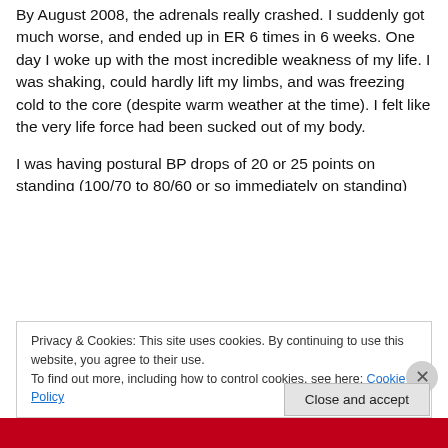By August 2008, the adrenals really crashed. I suddenly got much worse, and ended up in ER 6 times in 6 weeks. One day I woke up with the most incredible weakness of my life. I was shaking, could hardly lift my limbs, and was freezing cold to the core (despite warm weather at the time). I felt like the very life force had been sucked out of my body.
I was having postural BP drops of 20 or 25 points on standing (100/70 to 80/60 or so immediately on standing) and could barely even control my limbs. I was taken to ER where they gave me IV saline over an hour or so. I kind...
Privacy & Cookies: This site uses cookies. By continuing to use this website, you agree to their use. To find out more, including how to control cookies, see here: Cookie Policy